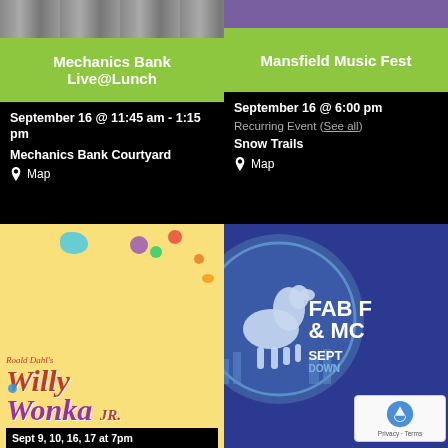[Figure (photo): Top portion of Mechanics Bank Live@Lunch event card with photo at top]
Mechanics Bank Live@Lunch
September 16 @ 11:45 am - 1:15 pm
Mechanics Bank Courtyard
📍 Map
[Figure (photo): Top portion of Mansfield Music Fest event card with purple banner]
Mansfield Music Fest
September 16 @ 6:00 pm
Recurring Event (See all)
Snow Trails
📍 Map
[Figure (photo): Willy Wonka Jr. show poster - yellow background with colorful candy decorations. Text: Roald Dahl's Willy Wonka JR. Sept 9, 10, 16, 17 at 7pm]
[Figure (photo): FAB F & MC event card - dark blue background with circular horse emblem. Text: FAB F & MC SEPT DOWN]